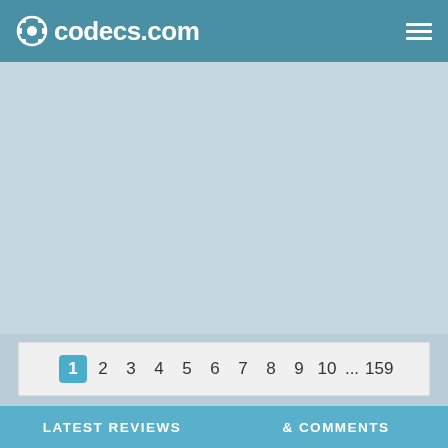codecs.com
[Figure (other): Light blue advertisement/banner placeholder area]
1 2 3 4 5 6 7 8 9 10 ... 159
LATEST REVIEWS & COMMENTS
Passcape ISO Burner ★★★★★